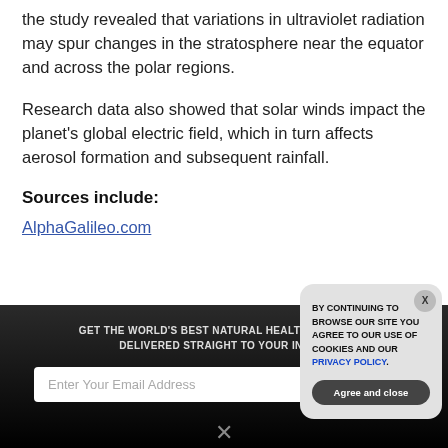the study revealed that variations in ultraviolet radiation may spur changes in the stratosphere near the equator and across the polar regions.
Research data also showed that solar winds impact the planet's global electric field, which in turn affects aerosol formation and subsequent rainfall.
Sources include:
AlphaGalileo.com
[Figure (screenshot): Dark newsletter signup banner with email input field, Subscribe button, and a cookie consent modal overlay. The modal reads: BY CONTINUING TO BROWSE OUR SITE YOU AGREE TO OUR USE OF COOKIES AND OUR PRIVACY POLICY. Contains an Agree and close button and an X close button.]